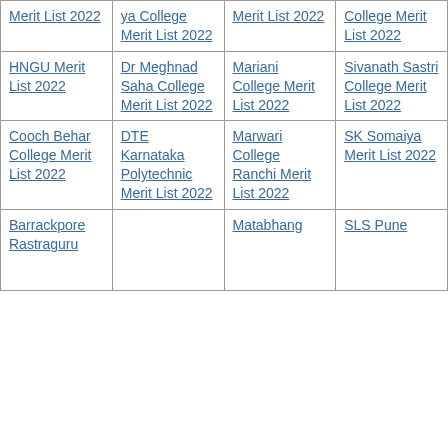| Merit List 2022 | ya College Merit List 2022 | Merit List 2022 | College Merit List 2022 |
| HNGU Merit List 2022 | Dr Meghnad Saha College Merit List 2022 | Mariani College Merit List 2022 | Sivanath Sastri College Merit List 2022 |
| Cooch Behar College Merit List 2022 | DTE Karnataka Polytechnic Merit List 2022 | Marwari College Ranchi Merit List 2022 | SK Somaiya Merit List 2022 |
| Barrackpore Rastraguru ... |  | Matabhang ... | SLS Pune ... |